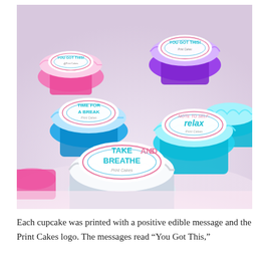[Figure (photo): Photograph of multiple cupcakes in colorful foil liners (pink, purple, teal, blue) on a white surface. Each cupcake has a white frosted top with a printed edible disc showing motivational messages: 'You Got This!', 'Time For A Break', 'Note To Self: Relax', 'Take 5 And Breathe' — each with the Print Cakes logo.]
Each cupcake was printed with a positive edible message and the Print Cakes logo. The messages read "You Got This,"